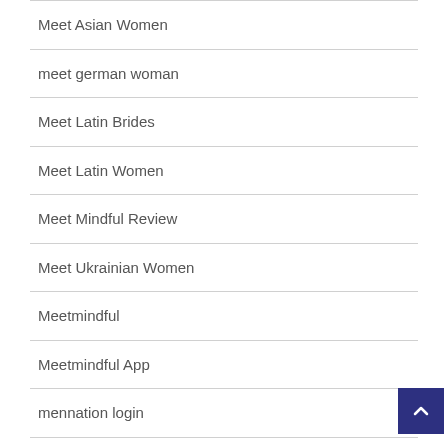Meet Asian Women
meet german woman
Meet Latin Brides
Meet Latin Women
Meet Mindful Review
Meet Ukrainian Women
Meetmindful
Meetmindful App
mennation login
merkur tricks